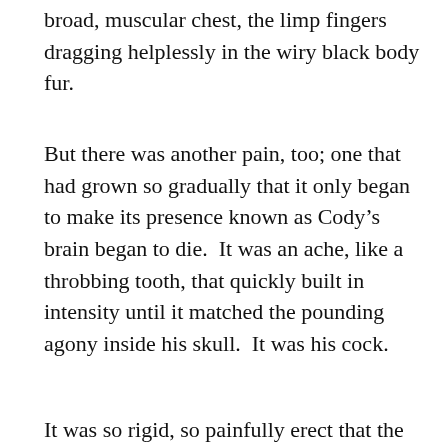broad, muscular chest, the limp fingers dragging helplessly in the wiry black body fur.
But there was another pain, too; one that had grown so gradually that it only began to make its presence known as Cody’s brain began to die.  It was an ache, like a throbbing tooth, that quickly built in intensity until it matched the pounding agony inside his skull.  It was his cock.
It was so rigid, so painfully erect that the